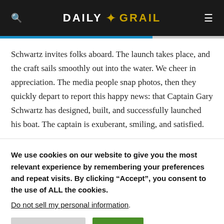DAILY GRAIL
Schwartz invites folks aboard. The launch takes place, and the craft sails smoothly out into the water. We cheer in appreciation. The media people snap photos, then they quickly depart to report this happy news: that Captain Gary Schwartz has designed, built, and successfully launched his boat. The captain is exuberant, smiling, and satisfied.
We use cookies on our website to give you the most relevant experience by remembering your preferences and repeat visits. By clicking “Accept”, you consent to the use of ALL the cookies. Do not sell my personal information.